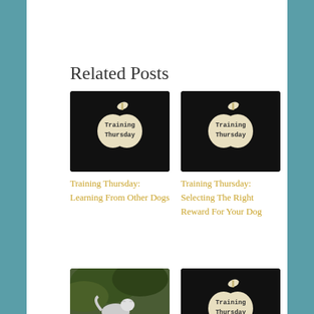Related Posts
[Figure (photo): Wooden apple sign with text Training Thursday on dark background]
[Figure (photo): Wooden apple sign with text Training Thursday on dark background]
Training Thursday: Learning From Other Dogs
Training Thursday: Selecting The Right Reward For Your Dog
[Figure (photo): Husky dog standing on a wooden bench in a forest setting]
[Figure (photo): Wooden apple sign with text Training Thursday on dark background]